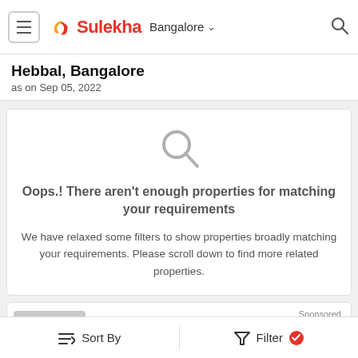Sulekha — Bangalore
Hebbal, Bangalore
as on Sep 05, 2022
Oops.! There aren't enough properties for matching your requirements

We have relaxed some filters to show properties broadly matching your requirements. Please scroll down to find more related properties.
Sponsored
1 BHK Independent House for Rent at bda society in Ashok
Sort By   Filter